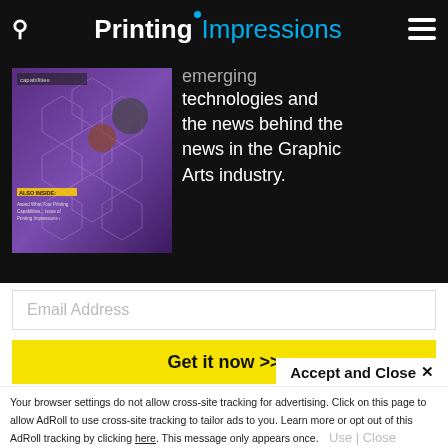Printing Impressions
[Figure (screenshot): Magazine cover thumbnail with purple hexagonal pattern background, showing Printing Impressions magazine. Also Inside text visible at bottom left.]
emerging technologies and the news behind the news in the Graphic Arts industry.
Email Address
Get it now >>
This site uses cookies for tracking purposes. By continuing to browse our website, you agree to the storing of first- and third-party cookies on your device to enhance site navigation, analyze site usage, and assist in our marketing and
Accept and Close ✕
Your browser settings do not allow cross-site tracking for advertising. Click on this page to allow AdRoll to use cross-site tracking to tailor ads to you. Learn more or opt out of this AdRoll tracking by clicking here. This message only appears once.